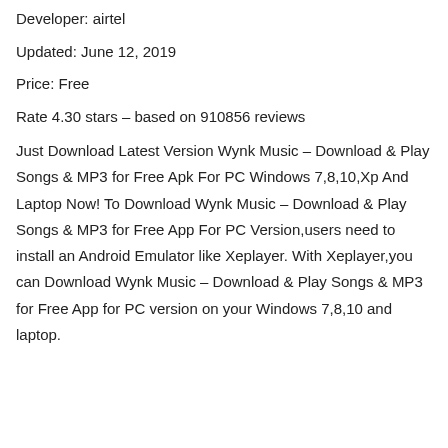Developer: airtel
Updated: June 12, 2019
Price: Free
Rate 4.30 stars – based on 910856 reviews
Just Download Latest Version Wynk Music – Download & Play Songs & MP3 for Free Apk For PC Windows 7,8,10,Xp And Laptop Now! To Download Wynk Music – Download & Play Songs & MP3 for Free App For PC Version,users need to install an Android Emulator like Xeplayer. With Xeplayer,you can Download Wynk Music – Download & Play Songs & MP3 for Free App for PC version on your Windows 7,8,10 and laptop.